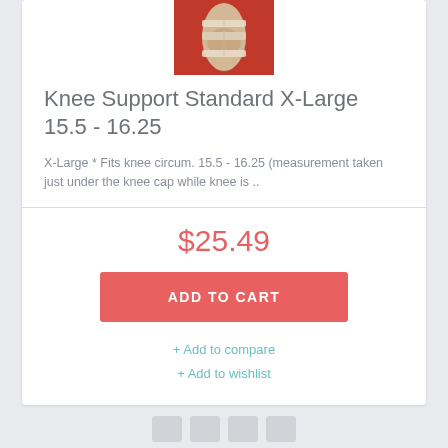[Figure (photo): Knee support brace worn on a person's knee, shown against a red background]
Knee Support Standard X-Large 15.5 - 16.25
X-Large * Fits knee circum. 15.5 - 16.25 (measurement taken just under the knee cap while knee is ..
$25.49
ADD TO CART
+ Add to compare
+ Add to wishlist